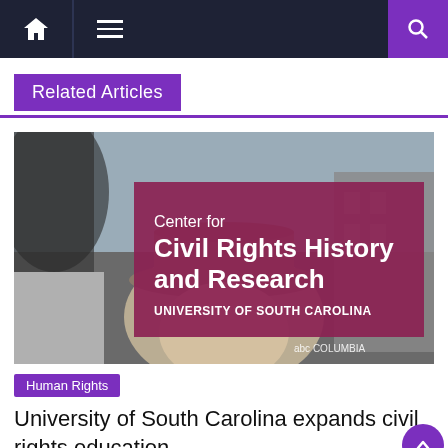Navigation bar with home, menu, and search icons
Related Articles
[Figure (photo): Photo showing the Center for Civil Rights History and Research, University of South Carolina logo/banner overlaid on a black and white photo of a person wearing a hat. ABC Columbia watermark visible in lower right.]
Human Rights
University of South Carolina expands civil rights education